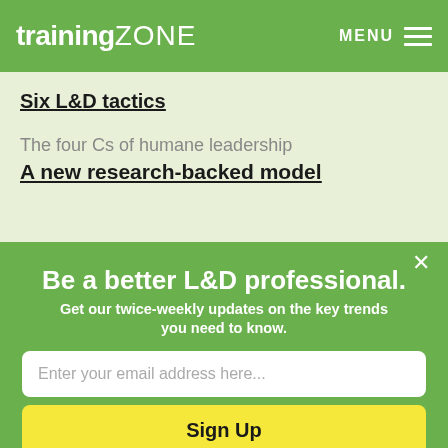trainingZONE  MENU
Six L&D tactics
The four Cs of humane leadership
A new research-backed model
Be a better L&D professional. Get our twice-weekly updates on the key trends you need to know.
Enter your email address here...
Sign Up